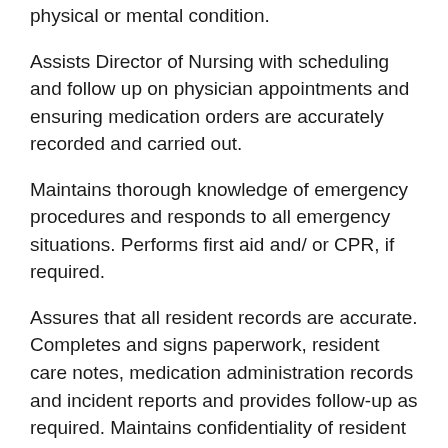physical or mental condition.
Assists Director of Nursing with scheduling and follow up on physician appointments and ensuring medication orders are accurately recorded and carried out.
Maintains thorough knowledge of emergency procedures and responds to all emergency situations. Performs first aid and/ or CPR, if required.
Assures that all resident records are accurate. Completes and signs paperwork, resident care notes, medication administration records and incident reports and provides follow-up as required. Maintains confidentiality of resident and community information.